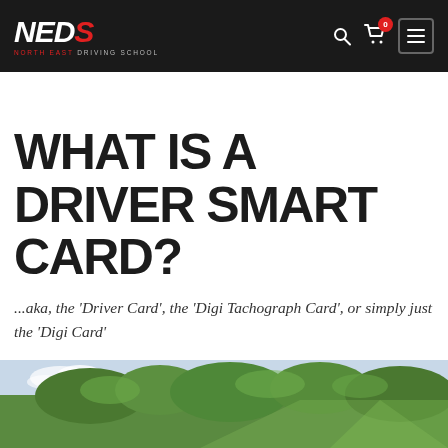NEDS North East Driving School
WHAT IS A DRIVER SMART CARD?
...aka, the 'Driver Card', the 'Digi Tachograph Card', or simply just the 'Digi Card'
[Figure (photo): Partial view of a scenic outdoor/nature photo at the bottom of the page]